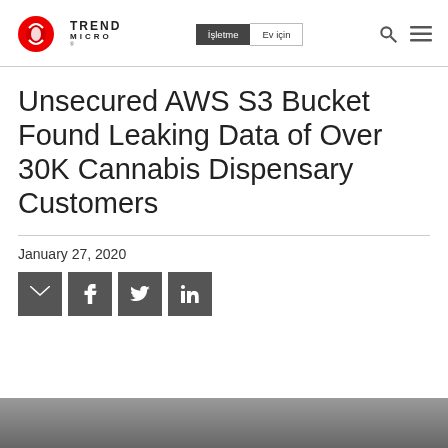Trend Micro — İşletme | Ev için
Unsecured AWS S3 Bucket Found Leaking Data of Over 30K Cannabis Dispensary Customers
January 27, 2020
[Figure (screenshot): Social share buttons: email, Facebook, Twitter, LinkedIn]
[Figure (photo): Partial photo visible at bottom of page]